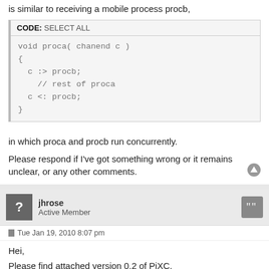is similar to receiving a mobile process procb,
[Figure (screenshot): Code box with header 'CODE: SELECT ALL' and code block showing void proca function with channel send and receive operations]
in which proca and procb run concurrently.
Please respond if I've got something wrong or it remains unclear, or any other comments.
jhrose
Active Member
Tue Jan 19, 2010 8:07 pm
Hei,
Please find attached version 0.2 of PiXC.
[Figure (other): Orange download attachment box showing PIXC 0_2.PDF, (255.37 KiB) Downloaded 686 times, with download arrow icon]